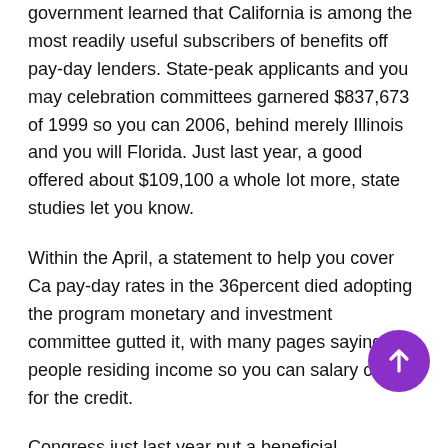government learned that California is among the most readily useful subscribers of benefits off pay-day lenders. State-peak applicants and you may celebration committees garnered $837,673 of 1999 so you can 2006, behind merely Illinois and you will Florida. Just last year, a good offered about $109,100 a whole lot more, state studies let you know.
Within the April, a statement to help you cover Ca pay-day rates in the 36percent died adopting the program monetary and investment committee gutted it, with many pages saying that people residing income so you can salary called for the credit.
Congress just last year put a beneficial 36percent rates maximum toward expense in order to people in the newest supplied providers, effortlessly ending payday loans so you're able to army house. Whenever Oregon put alike restriction a year ago, every thing but power down pay day bringing truth be told there.
Switch to Your Contact info. You should keep 3rd cluster lenders